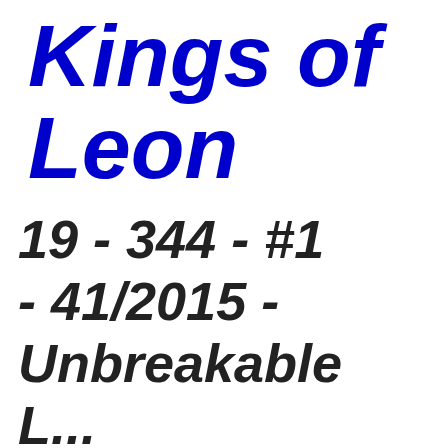Kings of Leon
19 - 344 - #1 - 41/2015 - Unbreakable